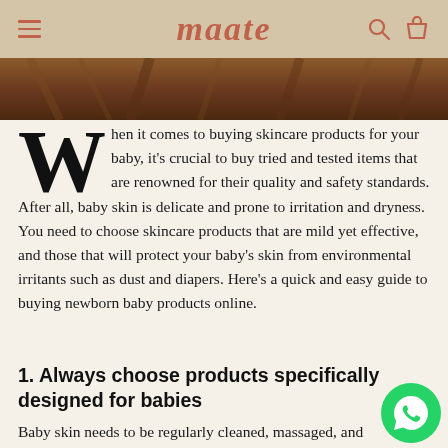maate
[Figure (photo): Wood/product photo strip at top of article]
When it comes to buying skincare products for your baby, it's crucial to buy tried and tested items that are renowned for their quality and safety standards. After all, baby skin is delicate and prone to irritation and dryness. You need to choose skincare products that are mild yet effective, and those that will protect your baby's skin from environmental irritants such as dust and diapers. Here's a quick and easy guide to buying newborn baby products online.
1. Always choose products specifically designed for babies
Baby skin needs to be regularly cleaned, massaged, and moisturised. It is susceptible and won't take well to